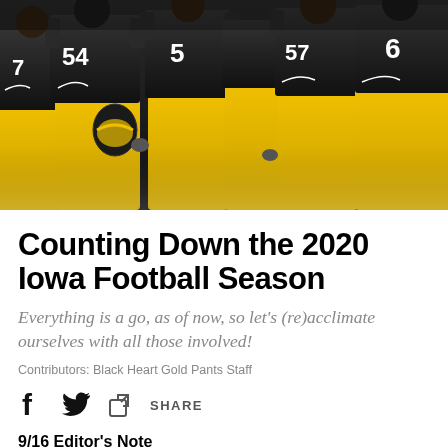[Figure (photo): Iowa Hawkeyes football players in black jerseys and gold pants standing together before a game, jersey numbers visible including 54, 5, 57, and 6]
Counting Down the 2020 Iowa Football Season
Everything is a go, as of now, so let's (re)acclimate ourselves with all those involved!
Contributors: Black Heart Gold Pants Staff
SHARE
9/16 Editor's Note